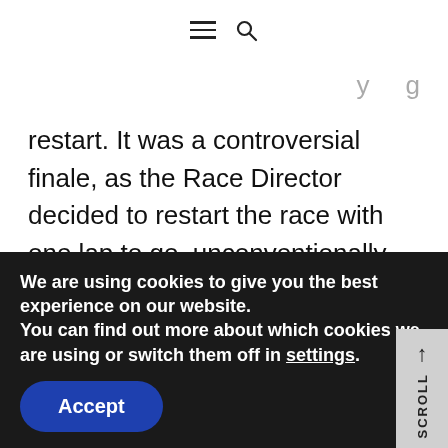≡ 🔍
restart. It was a controversial finale, as the Race Director decided to restart the race with one lap to go, unconventionally only allowing the lapped cars between the first and second place to pass by the Safety
We are using cookies to give you the best experience on our website.
You can find out more about which cookies we are using or switch them off in settings.
Accept